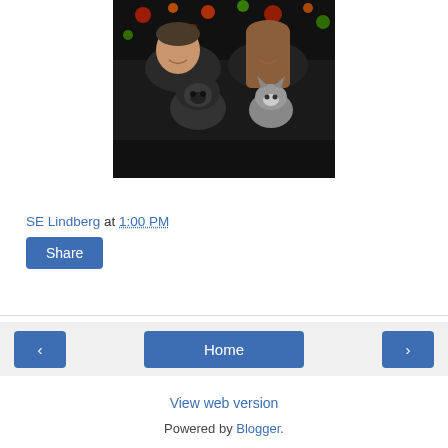[Figure (photo): A couple smiling, holding a black pug dog and a grey and white cat, with colorful bokeh lights (red, orange, green) in the dark background, a Christmas/holiday themed portrait.]
SE Lindberg at 1:00 PM
Share
‹
Home
›
View web version
Powered by Blogger.